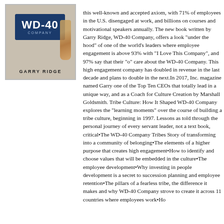[Figure (illustration): Book cover of WD-40 Company by Garry Ridge showing the WD-40 Company logo on a weathered background with author name GARRY RIDGE at the bottom]
this well-known and accepted axiom, with 71% of employees in the U.S. disengaged at work, and billions on courses and motivational speakers annually. The new book written by Garry Ridge, WD-40 Company, offers a look "under the hood" of one of the world's leaders where employee engagement is above 93% with "I Love This Company", and 97% say that their "o" care about the WD-40 Company. This high engagement company has doubled in revenue in the last decade and plans to double in the next.In 2017, Inc. magazine named Garry one of the Top Ten CEOs that totally lead in a unique way, and as a Coach for Culture Creation by Marshall Goldsmith. Tribe Culture: How It Shaped WD-40 Company explores the "learning moments" over the course of building a tribe culture, beginning in 1997. Lessons as told through the personal journey of every servant leader, not a text book, critical•The WD-40 Company Tribes Story of transforming into a community of belonging•The elements of a higher purpose that creates high engagement•How to identify and choose values that will be embedded in the culture•The employee development•Why investing in people development is a secret to succession planning and employee retention•The pillars of a fearless tribe, the difference it makes and why WD-40 Company strove to create it across 11 countries where employees work•Ho